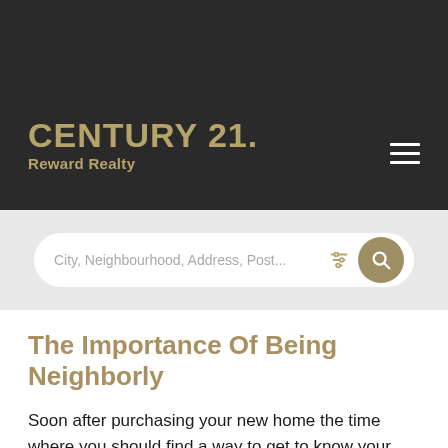[Figure (logo): CENTURY 21 Reward Realty logo on dark background with hamburger menu icon]
[Figure (screenshot): Search bar with placeholder text 'City, Neighbourhood, Address, Post...' and filter/search icons on grey background]
The Importance Of Being Neighborly
Soon after purchasing your new home the time where you should find a way to get to know your